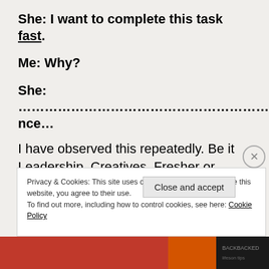She: I want to complete this task fast.
Me: Why?
She: …………………………………………………...silence…
I have observed this repeatedly. Be it Leadership, Creatives, Fresher or others. Most of us are in a hurry to complete the task.
Privacy & Cookies: This site uses cookies. By continuing to use this website, you agree to their use. To find out more, including how to control cookies, see here: Cookie Policy
Close and accept